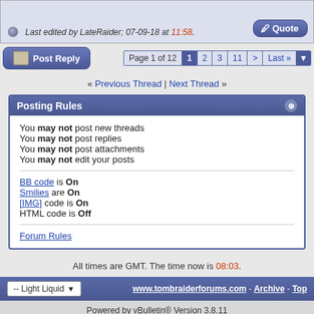Last edited by LateRaider; 07-09-18 at 11:58.
Page 1 of 12   1  2  3  11  >  Last »
« Previous Thread | Next Thread »
Posting Rules
You may not post new threads
You may not post replies
You may not post attachments
You may not edit your posts
BB code is On
Smilies are On
[IMG] code is On
HTML code is Off
Forum Rules
All times are GMT. The time now is 08:03.
www.tombraiderforums.com - Archive - Top
Powered by vBulletin® Version 3.8.11 Copyright ©2000 - 2022, vBulletin Solutions Inc.